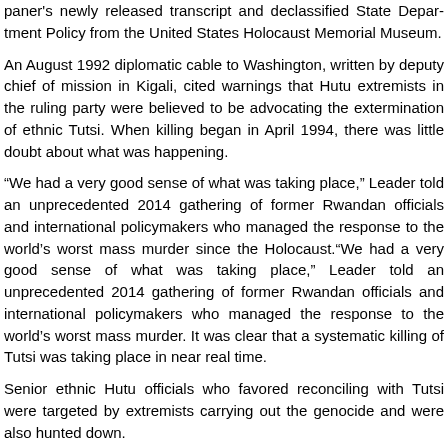paner's newly released transcript and declassified State Department Policy from the United States Holocaust Memorial Museum.
An August 1992 diplomatic cable to Washington, written by deputy chief of mission in Kigali, cited warnings that Hutu extremists in the ruling party were believed to be advocating the extermination of ethnic Tutsi. When killing began in April 1994, there was little doubt about what was happening.
“We had a very good sense of what was taking place,” Leader told an unprecedented 2014 gathering of former Rwandan officials and international policymakers who managed the response to the world’s worst mass murder since the Holocaust.“We had a very good sense of what was taking place,” Leader told an unprecedented 2014 gathering of former Rwandan officials and international policymakers who managed the response to the world’s worst mass murder. It was clear that a systematic killing of Tutsi was taking place in near real time.
Senior ethnic Hutu officials who favored reconciling with Tutsi were targeted by extremists carrying out the genocide and were also hunted down.
Leader’s cable was part of the discussion of a three-day review by the Holocaust Museum’s Center for the Prevention of Genocide and Humanity in Justice. A transcript of the review’s findings — which runs more than a five-page executive summary — was provided to FP ahead of its release on April 6, the 21st anniversary of the start of the Rwandan genocide.
The event provided an extraordinary opportunity for 40 key participants to discuss missteps. They included former Rwandan government and rebel leaders; U.S., European, and U.N. diplomats and peacekeepers; aid workers, journalists; and former U.S. ambassadors, U.S. officials who were directly involved in the